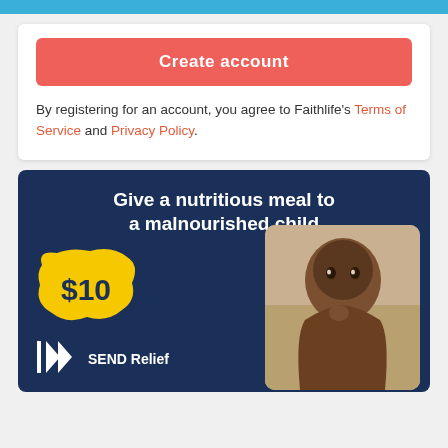Create account
By registering for an account, you agree to Faithlife's Terms of Service and Privacy Policy.
[Figure (infographic): SEND Relief advertisement banner with dark blue background. Text: 'Give a nutritious meal to a malnourished child'. Yellow torn-paper shape with '$10' label. Photo of a malnourished child. SEND Relief logo with double-arrow icon at bottom left.]